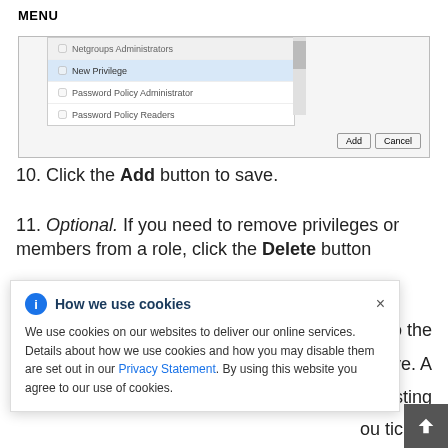MENU
[Figure (screenshot): Dialog box showing a list with checkboxes for roles including NetgroupsAdministrators, New Privilege (highlighted), Password Policy Administrator, Password Policy Readers, with a scrollbar and Add/Cancel buttons at bottom right.]
10. Click the Add button to save.
11. Optional. If you need to remove privileges or members from a role, click the Delete button to the remove. A existing ou ticked e list, to
How we use cookies
We use cookies on our websites to deliver our online services. Details about how we use cookies and how you may disable them are set out in our Privacy Statement. By using this website you agree to our use of cookies.
display the Remove roles dialog